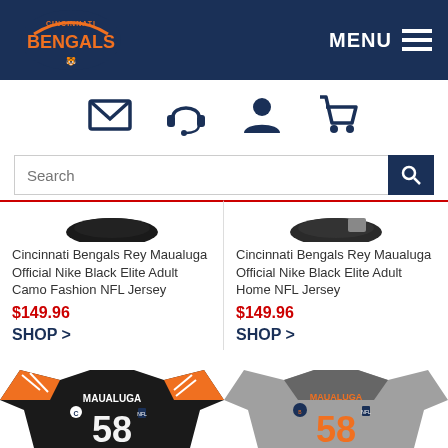[Figure (logo): Cincinnati Bengals logo on dark navy header]
MENU
[Figure (infographic): Navigation icons: email/envelope, headset, user/account, shopping cart]
[Figure (infographic): Search bar with magnifying glass button]
Cincinnati Bengals Rey Maualuga Official Nike Black Elite Adult Camo Fashion NFL Jersey
$149.96
SHOP >
Cincinnati Bengals Rey Maualuga Official Nike Black Elite Adult Home NFL Jersey
$149.96
SHOP >
[Figure (photo): Cincinnati Bengals #58 MAUALUGA black and orange jersey]
[Figure (photo): Cincinnati Bengals #58 MAUALUGA gray jersey]